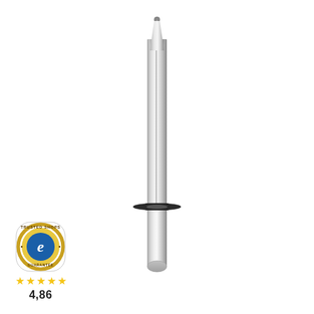[Figure (photo): A long slender end mill / drill bit tool with a small cutting tip at the top, a tapered neck, a cylindrical silver shank body, a black collar/ring near the lower portion, and a rounded bottom end. Product photo on white background.]
[Figure (logo): Trusted Shops guarantee badge — circular emblem with 'TRUSTED SHOPS' text around the top arc and 'GUARANTEE' around the bottom arc, with a blue 'e' logo in the center on a gold/yellow background. Below are five gold stars and the rating '4,86'.]